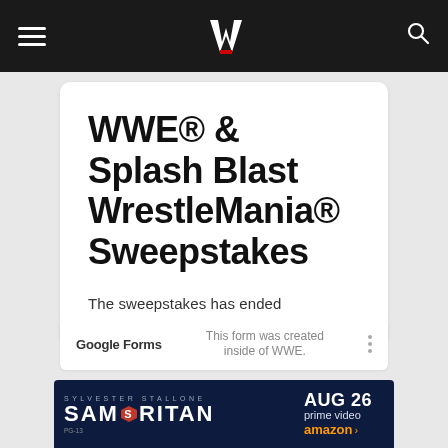[Figure (logo): WWE logo (white stylized W with red accent) centered in dark navigation bar with hamburger menu on left and search icon on right]
WWE® & Splash Blast WrestleMania® Sweepstakes
The sweepstakes has ended
Google Forms  This form was created inside of WWE.
[Figure (photo): Sylvester Stallone Samaritan movie advertisement banner - dark navy background with 'SYLVESTER STALLONE' text, 'SAMARITAN' title in large letters with S logo, 'AUG 26 prime video amazon' on right side]